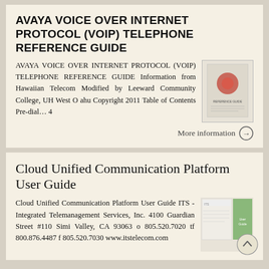AVAYA VOICE OVER INTERNET PROTOCOL (VOIP) TELEPHONE REFERENCE GUIDE
AVAYA VOICE OVER INTERNET PROTOCOL (VOIP) TELEPHONE REFERENCE GUIDE Information from Hawaiian Telecom Modified by Leeward Community College, UH West O ahu Copyright 2011 Table of Contents Pre-dial... 4
[Figure (illustration): Thumbnail image of the Avaya VoIP Telephone Reference Guide document cover]
More information →
Cloud Unified Communication Platform User Guide
Cloud Unified Communication Platform User Guide ITS - Integrated Telemanagement Services, Inc. 4100 Guardian Street #110 Simi Valley, CA 93063 o 805.520.7020 tf 800.876.4487 f 805.520.7030 www.itstelecom.com
[Figure (illustration): Thumbnail image of the Cloud Unified Communication Platform User Guide document cover with green and white design]